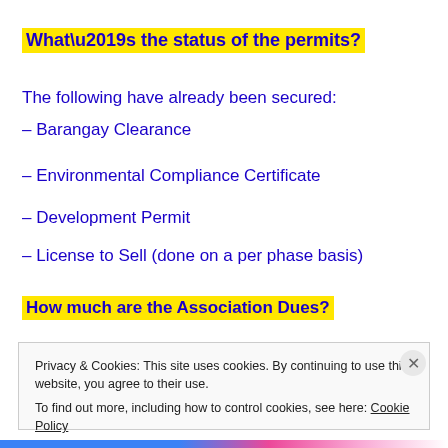What’s the status of the permits?
The following have already been secured:
– Barangay Clearance
– Environmental Compliance Certificate
– Development Permit
– License to Sell (done on a per phase basis)
How much are the Association Dues?
Privacy & Cookies: This site uses cookies. By continuing to use this website, you agree to their use.
To find out more, including how to control cookies, see here: Cookie Policy